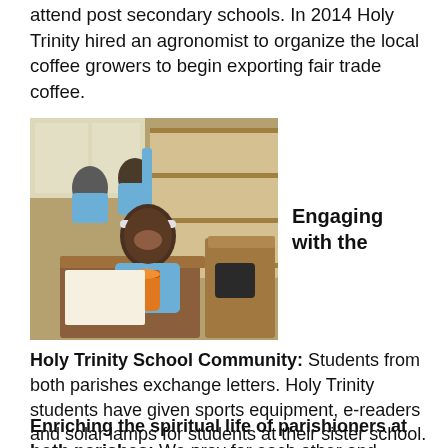attend post secondary schools. In 2014 Holy Trinity hired an agronomist to organize the local coffee growers to begin exporting fair trade coffee.
[Figure (photo): Students in blue uniforms sitting at wooden desks in a classroom; the student in the foreground is smiling and holding an orange jar.]
Engaging with the
Holy Trinity School Community: Students from both parishes exchange letters. Holy Trinity students have given sports equipment, e-readers and solar lamps for students at their sister school.
Enriching the spiritual life of parishioners at both parishes: We pray for each other and attend each